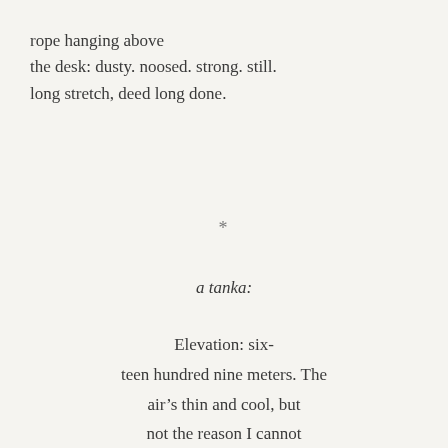rope hanging above
the desk: dusty. noosed. strong. still.
long stretch, deed long done.
*
a tanka:
Elevation: six-
teen hundred nine meters. The
air’s thin and cool, but
not the reason I cannot